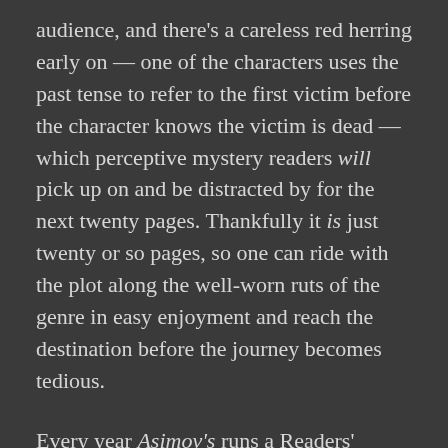audience, and there's a careless red herring early on — one of the characters uses the past tense to refer to the first victim before the character knows the victim is dead — which perceptive mystery readers will pick up on and be distracted by for the next twenty pages. Thankfully it is just twenty or so pages, so one can ride with the plot along the well-worn ruts of the genre in easy enjoyment and reach the destination before the journey becomes tedious.
Every year Asimov's runs a Readers' Award poll, which seems a remarkably straightforward way to encourage it to print more of the interesting things I like. At some point in the next few